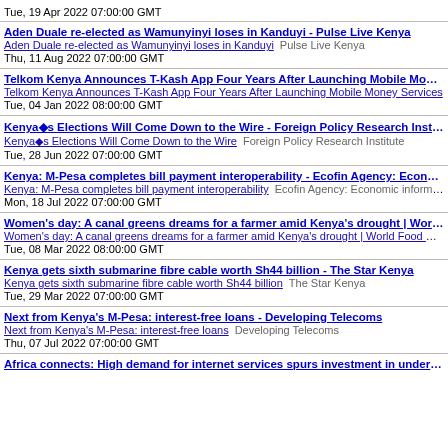Tue, 19 Apr 2022 07:00:00 GMT
Aden Duale re-elected as Wamunyinyi loses in Kanduyi - Pulse Live Kenya | Aden Duale re-elected as Wamunyinyi loses in Kanduyi | Pulse Live Kenya | Thu, 11 Aug 2022 07:00:00 GMT
Telkom Kenya Announces T-Kash App Four Years After Launching Mobile Money Services | Telkom Kenya Announces T-Kash App Four Years After Launching Mobile Money Services | Tue, 04 Jan 2022 08:00:00 GMT
Kenya's Elections Will Come Down to the Wire - Foreign Policy Research Institute | Kenya's Elections Will Come Down to the Wire | Foreign Policy Research Institute | Tue, 28 Jun 2022 07:00:00 GMT
Kenya: M-Pesa completes bill payment interoperability - Ecofin Agency: Economic info | Kenya: M-Pesa completes bill payment interoperability | Ecofin Agency: Economic information | Mon, 18 Jul 2022 07:00:00 GMT
Women's day: A canal greens dreams for a farmer amid Kenya's drought | World Food Programme | Women's day: A canal greens dreams for a farmer amid Kenya's drought | World Food Programme | Tue, 08 Mar 2022 08:00:00 GMT
Kenya gets sixth submarine fibre cable worth Sh44 billion - The Star Kenya | Kenya gets sixth submarine fibre cable worth Sh44 billion | The Star Kenya | Tue, 29 Mar 2022 07:00:00 GMT
Next from Kenya's M-Pesa: interest-free loans - Developing Telecoms | Next from Kenya's M-Pesa: interest-free loans | Developing Telecoms | Thu, 07 Jul 2022 07:00:00 GMT
Africa connects: High demand for internet services spurs investment in undersea cables